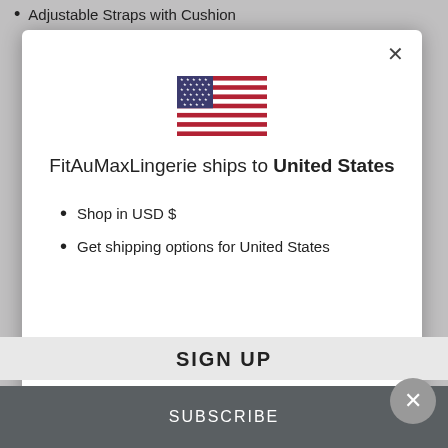Adjustable Straps with Cushion
[Figure (illustration): US flag icon]
FitAuMaxLingerie ships to United States
Shop in USD $
Get shipping options for United States
Shop now
SIGN UP
SUBSCRIBE